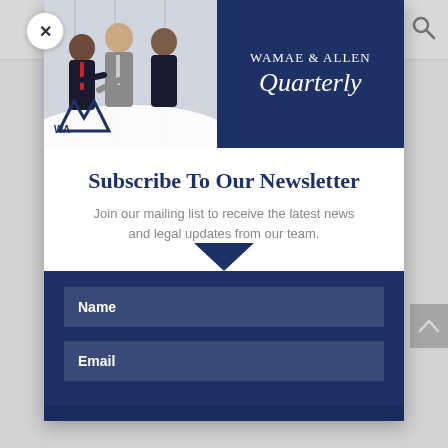law firms in the world @IFLR1000
Congratulations to our M&A team led by
[Figure (photo): Wamae & Allen Quarterly newsletter banner showing businesspeople and navy blue branding panel]
Subscribe To Our Newsletter
Join our mailing list to receive the latest news and legal updates from our team.
Name
Email